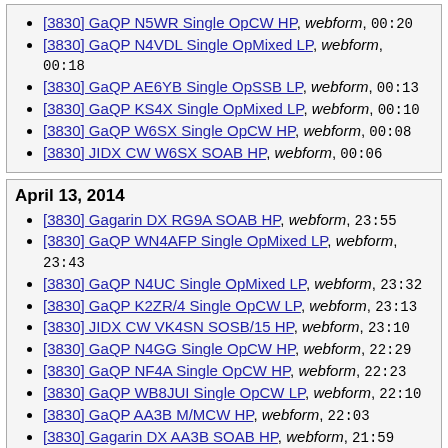[3830] GaQP N5WR Single OpCW HP, webform, 00:20
[3830] GaQP N4VDL Single OpMixed LP, webform, 00:18
[3830] GaQP AE6YB Single OpSSB LP, webform, 00:13
[3830] GaQP KS4X Single OpMixed LP, webform, 00:10
[3830] GaQP W6SX Single OpCW HP, webform, 00:08
[3830] JIDX CW W6SX SOAB HP, webform, 00:06
April 13, 2014
[3830] Gagarin DX RG9A SOAB HP, webform, 23:55
[3830] GaQP WN4AFP Single OpMixed LP, webform, 23:43
[3830] GaQP N4UC Single OpMixed LP, webform, 23:32
[3830] GaQP K2ZR/4 Single OpCW LP, webform, 23:13
[3830] JIDX CW VK4SN SOSB/15 HP, webform, 23:10
[3830] GaQP N4GG Single OpCW HP, webform, 22:29
[3830] GaQP NF4A Single OpCW HP, webform, 22:23
[3830] GaQP WB8JUI Single OpCW LP, webform, 22:10
[3830] GaQP AA3B M/MCW HP, webform, 22:03
[3830] Gagarin DX AA3B SOAB HP, webform, 21:59
[3830] NMQP WB8JUI Single Op LP, webform, 21:58
[3830] GaQP W4NBS Single OpMixed LP, webform, 21:56
[3830] GaQP K1ZZI Single OpCW HP, webform, 21:52